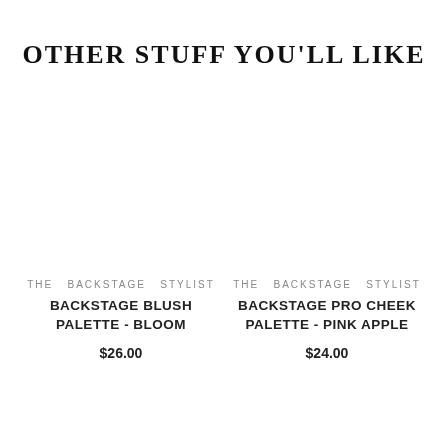OTHER STUFF YOU'LL LIKE
THE BACKSTAGE STYLIST
BACKSTAGE BLUSH PALETTE - BLOOM
$26.00
THE BACKSTAGE STYLIST
BACKSTAGE PRO CHEEK PALETTE - PINK APPLE
$24.00